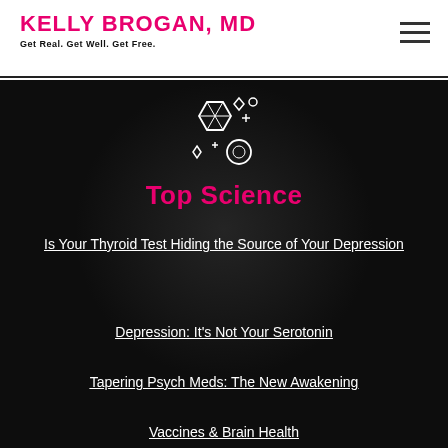KELLY BROGAN, MD — Get Real. Get Well. Get Free.
[Figure (illustration): White outline icon of gems/crystals and sparkles on dark background]
Top Science
Is Your Thyroid Test Hiding the Source of Your Depression
Depression: It's Not Your Serotonin
Tapering Psych Meds: The New Awakening
Vaccines & Brain Health